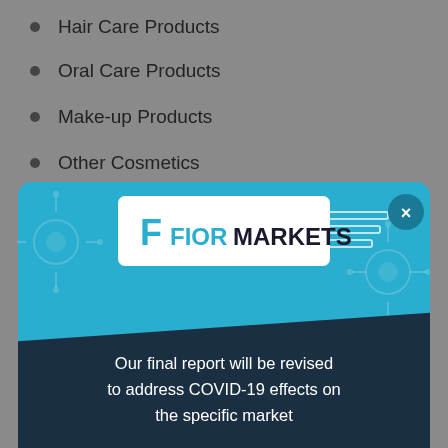Hair Care Products
Oral Care Products
Make-up Products
Other Cosmetics
[Figure (infographic): Fior Markets modal popup with teal/blue background, company logo at top, dark navy banner with text: Our final report will be revised to address COVID-19 effects on the specific market. Decorative geometric lines and circles. Close button (x) in top right.]
Germany
France
Sweden
Netherlands
UK